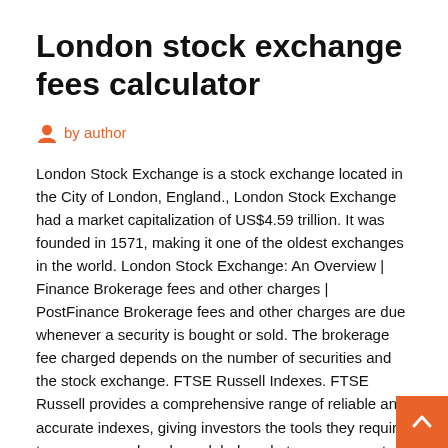London stock exchange fees calculator
by author
London Stock Exchange is a stock exchange located in the City of London, England., London Stock Exchange had a market capitalization of US$4.59 trillion. It was founded in 1571, making it one of the oldest exchanges in the world. London Stock Exchange: An Overview | Finance
Brokerage fees and other charges | PostFinance Brokerage fees and other charges are due whenever a security is bought or sold. The brokerage fee charged depends on the number of securities and the stock exchange. FTSE Russell Indexes. FTSE Russell provides a comprehensive range of reliable and accurate indexes, giving investors the tools they require to measure and analyze global markets across asset classes, styles or strategies. 2018 All-Inclusive Annual Fee Schedule NASDAQ 2018 All-Inclusive Annual Fee Schedule...